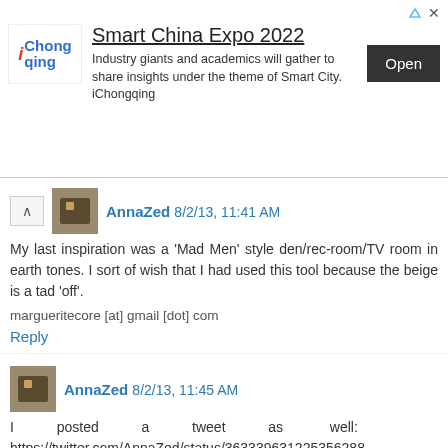[Figure (other): Advertisement banner for Smart China Expo 2022 by iChongqing with Open button]
AnnaZed 8/2/13, 11:41 AM
My last inspiration was a 'Mad Men' style den/rec-room/TV room in earth tones. I sort of wish that I had used this tool because the beige is a tad 'off'.

margueritecore [at] gmail [dot] com
Reply
AnnaZed 8/2/13, 11:45 AM
I posted a tweet as well: https://twitter.com/AnnaZed/status/363339631225356288

margueritecore [at] gmail [dot] com
Reply